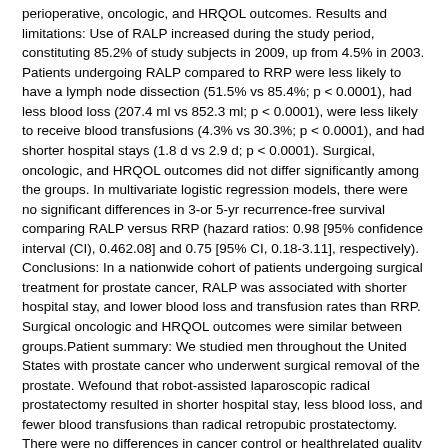perioperative, oncologic, and HRQOL outcomes. Results and limitations: Use of RALP increased during the study period, constituting 85.2% of study subjects in 2009, up from 4.5% in 2003. Patients undergoing RALP compared to RRP were less likely to have a lymph node dissection (51.5% vs 85.4%; p < 0.0001), had less blood loss (207.4 ml vs 852.3 ml; p < 0.0001), were less likely to receive blood transfusions (4.3% vs 30.3%; p < 0.0001), and had shorter hospital stays (1.8 d vs 2.9 d; p < 0.0001). Surgical, oncologic, and HRQOL outcomes did not differ significantly among the groups. In multivariate logistic regression models, there were no significant differences in 3-or 5-yr recurrence-free survival comparing RALP versus RRP (hazard ratios: 0.98 [95% confidence interval (CI), 0.462.08] and 0.75 [95% CI, 0.18-3.11], respectively). Conclusions: In a nationwide cohort of patients undergoing surgical treatment for prostate cancer, RALP was associated with shorter hospital stay, and lower blood loss and transfusion rates than RRP. Surgical oncologic and HRQOL outcomes were similar between groups.Patient summary: We studied men throughout the United States with prostate cancer who underwent surgical removal of the prostate. Wefound that robot-assisted laparoscopic radical prostatectomy resulted in shorter hospital stay, less blood loss, and fewer blood transfusions than radical retropubic prostatectomy. There were no differences in cancer control or healthrelated quality of life.